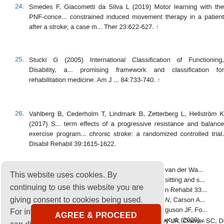24. Smedes F, Giacometti da Silva L (2019) Motor learning with the PNF-concept combined with constrained induced movement therapy in a patient after a stroke; a case m... Ther 23:622-627. ↑
25. Stucki G (2005) International Classification of Functioning, Disability, a... promising framework and classification for rehabilitation medicine. Am J ... 84:733-740. ↑
26. Vahlberg B, Cederholm T, Lindmark B, Zetterberg L, Hellström K (2017) S... term effects of a progressive resistance and balance exercise program... chronic stroke: a randomized controlled trial. Disabil Rehabil 39:1615-1622.
This website uses cookies. By continuing to use this website you are giving consent to cookies being used. For information on cookies and how you can disable them visit our Privacy and Cookie Policy.
AGREE & PROCEED
30. Winstein CJ, Stein J, Arena R, Bates B, Cherney LR, Cramer SC, Deruyter...